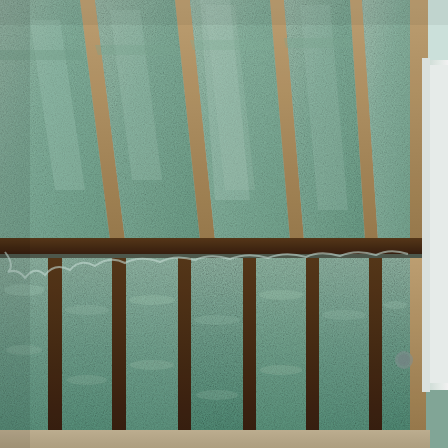[Figure (photo): Interior photograph of a building under construction showing spray foam insulation (light green/teal color) applied between roof rafters on a sloped ceiling and between wall studs on vertical walls. Wooden framing members (rafters and studs) are visible as brown dividers. A window opening with white trim is visible on the right side, letting in bright natural light. The insulation fills the cavities between structural members flush with or slightly proud of the framing.]